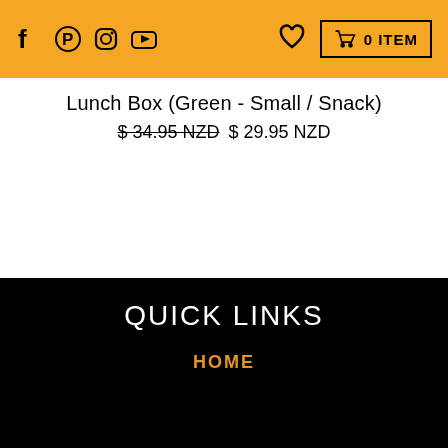f [pinterest] [instagram] [youtube] [heart] 0 ITEM
Lunch Box (Green - Small / Snack)
$ 34.95 NZD $ 29.95 NZD
← BACK TO KIDS LUNCH BOXES
QUICK LINKS
HOME